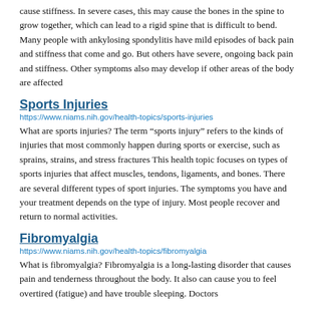cause stiffness. In severe cases, this may cause the bones in the spine to grow together, which can lead to a rigid spine that is difficult to bend. Many people with ankylosing spondylitis have mild episodes of back pain and stiffness that come and go. But others have severe, ongoing back pain and stiffness. Other symptoms also may develop if other areas of the body are affected
Sports Injuries
https://www.niams.nih.gov/health-topics/sports-injuries
What are sports injuries? The term “sports injury” refers to the kinds of injuries that most commonly happen during sports or exercise, such as sprains, strains, and stress fractures This health topic focuses on types of sports injuries that affect muscles, tendons, ligaments, and bones. There are several different types of sport injuries. The symptoms you have and your treatment depends on the type of injury. Most people recover and return to normal activities.
Fibromyalgia
https://www.niams.nih.gov/health-topics/fibromyalgia
What is fibromyalgia? Fibromyalgia is a long-lasting disorder that causes pain and tenderness throughout the body. It also can cause you to feel overtired (fatigue) and have trouble sleeping. Doctors